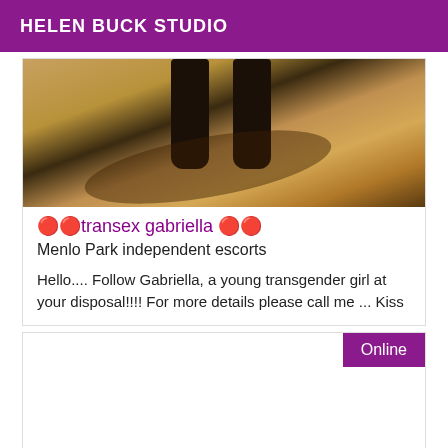HELEN BUCK STUDIO
[Figure (photo): Photo showing lower legs/boots on a concrete floor with shadows]
🔴🔴transex gabriella 🔴🔴
Menlo Park independent escorts
Hello.... Follow Gabriella, a young transgender girl at your disposal!!!! For more details please call me ... Kiss